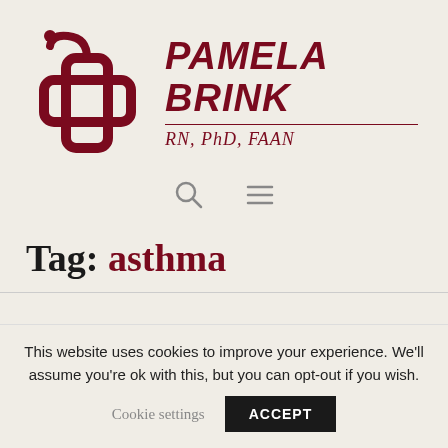[Figure (logo): Pamela Brink logo with stethoscope and cross icon in dark red, with name 'PAMELA BRINK' in bold italic and credentials 'RN, PhD, FAAN' below a dividing line]
[Figure (other): Search icon (magnifying glass) and hamburger menu icon in gray]
Tag: asthma
This website uses cookies to improve your experience. We'll assume you're ok with this, but you can opt-out if you wish.
Cookie settings
ACCEPT